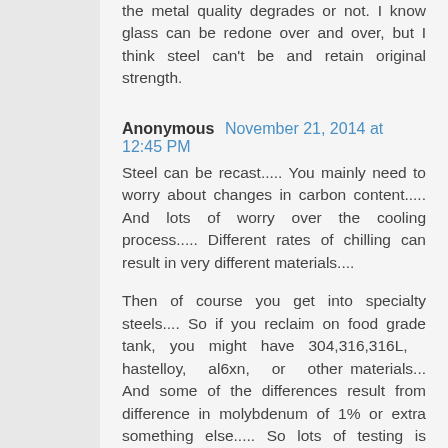the metal quality degrades or not. I know glass can be redone over and over, but I think steel can't be and retain original strength.
Anonymous  November 21, 2014 at 12:45 PM
Steel can be recast..... You mainly need to worry about changes in carbon content..... And lots of worry over the cooling process..... Different rates of chilling can result in very different materials....
Then of course you get into specialty steels.... So if you reclaim on food grade tank, you might have 304,316,316L, hastelloy, al6xn, or other materials... And some of the differences result from difference in molybdenum of 1% or extra something else..... So lots of testing is necessary to make the right adjustments to actually make the steel you want....
But, it would still be easy enough to make something that looks like a spearpoint to force